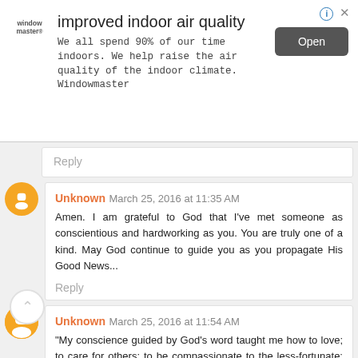[Figure (other): Advertisement banner for WindowMaster with title 'improved indoor air quality', body text, and Open button]
Reply
Unknown March 25, 2016 at 11:35 AM
Amen. I am grateful to God that I've met someone as conscientious and hardworking as you. You are truly one of a kind. May God continue to guide you as you propagate His Good News...
Reply
Unknown March 25, 2016 at 11:54 AM
"My conscience guided by God's word taught me how to love; to care for others; to be compassionate to the less-fortunate; and to